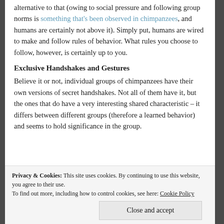alternative to that (owing to social pressure and following group norms is something that's been observed in chimpanzees, and humans are certainly not above it). Simply put, humans are wired to make and follow rules of behavior. What rules you choose to follow, however, is certainly up to you.
Exclusive Handshakes and Gestures
Believe it or not, individual groups of chimpanzees have their own versions of secret handshakes. Not all of them have it, but the ones that do have a very interesting shared characteristic – it differs between different groups (therefore a learned behavior) and seems to hold significance in the group.
[partially visible text at bottom]
Privacy & Cookies: This site uses cookies. By continuing to use this website, you agree to their use. To find out more, including how to control cookies, see here: Cookie Policy